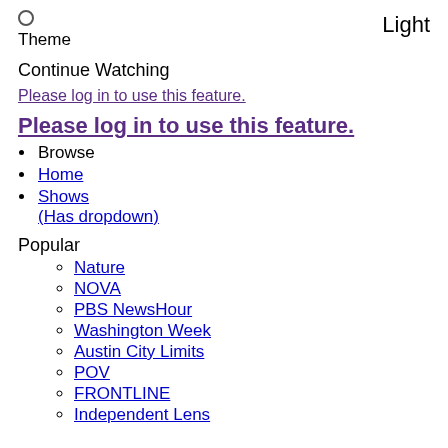Theme  Light
Continue Watching
Please log in to use this feature.
Please log in to use this feature.
Browse
Home
Shows (Has dropdown)
Popular
Nature
NOVA
PBS NewsHour
Washington Week
Austin City Limits
POV
FRONTLINE
Independent Lens